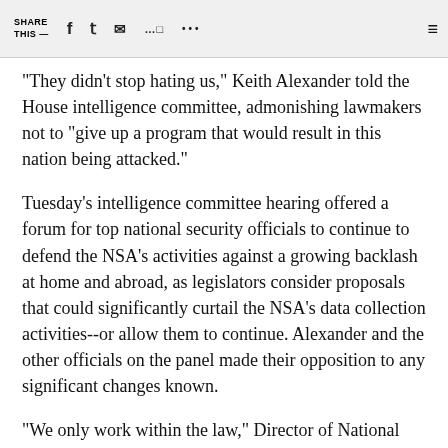SHARE THIS —
"They didn't stop hating us," Keith Alexander told the House intelligence committee, admonishing lawmakers not to "give up a program that would result in this nation being attacked."
Tuesday's intelligence committee hearing offered a forum for top national security officials to continue to defend the NSA's activities against a growing backlash at home and abroad, as legislators consider proposals that could significantly curtail the NSA's data collection activities--or allow them to continue. Alexander and the other officials on the panel made their opposition to any significant changes known.
"We only work within the law," Director of National Intelligence James Clapper told the intelligence committee. "The adversaries right to know we are...